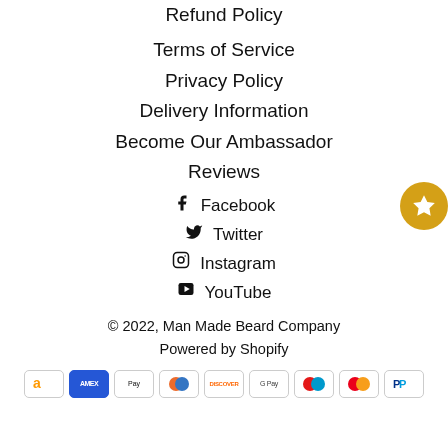Refund Policy
Terms of Service
Privacy Policy
Delivery Information
Become Our Ambassador
Reviews
Facebook
Twitter
Instagram
YouTube
© 2022, Man Made Beard Company
Powered by Shopify
[Figure (other): Payment method icons: Amazon, Amex, Apple Pay, Diners Club, Discover, Google Pay, Maestro, Mastercard, PayPal]